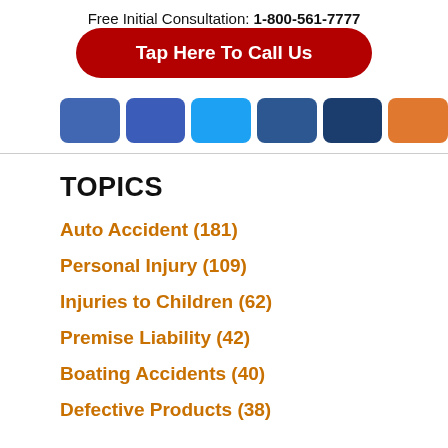Free Initial Consultation: 1-800-561-7777
Tap Here To Call Us
[Figure (other): Row of social media icon buttons: Facebook (x2), Twitter, LinkedIn, Google+, RSS]
TOPICS
Auto Accident (181)
Personal Injury (109)
Injuries to Children (62)
Premise Liability (42)
Boating Accidents (40)
Defective Products (38)